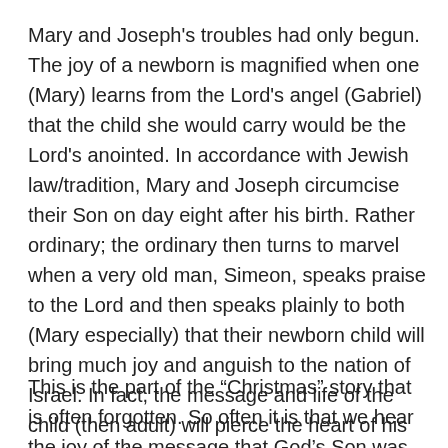Mary and Joseph's troubles had only begun. The joy of a newborn is magnified when one (Mary) learns from the Lord's angel (Gabriel) that the child she would carry would be the Lord's anointed. In accordance with Jewish law/tradition, Mary and Joseph circumcise their Son on day eight after his birth. Rather ordinary; the ordinary then turns to marvel when a very old man, Simeon, speaks praise to the Lord and then speaks plainly to both (Mary especially) that their newborn child will bring much joy and anguish to the nation of Israel. In fact, the message and life of the child (then adult) will pierce the heart of his mother (Luke 2:25-35).
This is the part of the “Christmas” story that is often forgotten. So often it is that we hear the joy of the message that God’s Son was brought into the world with